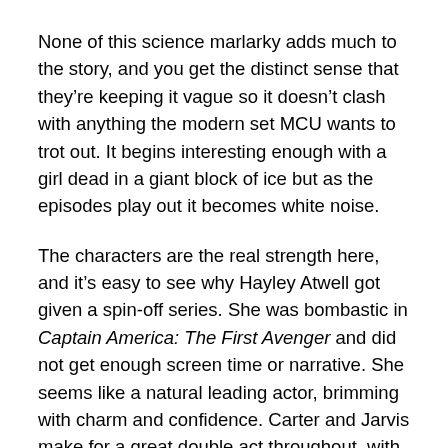None of this science marlarky adds much to the story, and you get the distinct sense that they're keeping it vague so it doesn't clash with anything the modern set MCU wants to trot out. It begins interesting enough with a girl dead in a giant block of ice but as the episodes play out it becomes white noise.
The characters are the real strength here, and it's easy to see why Hayley Atwell got given a spin-off series. She was bombastic in Captain America: The First Avenger and did not get enough screen time or narrative. She seems like a natural leading actor, brimming with charm and confidence. Carter and Jarvis make for a great double act throughout, with Jarvis getting fleshed out a bit more with the on-screen introduction of his wife Ana. Ana is a fun subversion of expectations, and her small arc dealing with